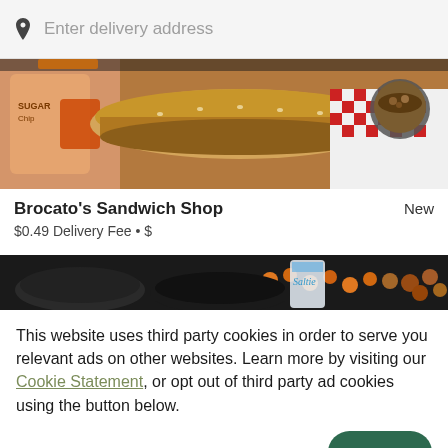[Figure (screenshot): Search bar with location pin icon and 'Enter delivery address' placeholder text]
[Figure (photo): Food photo showing sandwiches, bread, red checkered paper wrappers and a bowl of food]
Brocato's Sandwich Shop   New
$0.49 Delivery Fee • $
[Figure (photo): Food photo showing fried appetizers and drinks in dark bowls]
This website uses third party cookies in order to serve you relevant ads on other websites. Learn more by visiting our Cookie Statement, or opt out of third party ad cookies using the button below.
OPT OUT   GOT IT